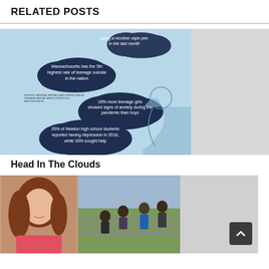RELATED POSTS
[Figure (infographic): Teen mental health infographic with dark navy cloud shapes on light blue background containing statistics: 'Massachusetts has the 5th highest rate of teenage suicide in the nation', '18% more teenage girls showed signs of anxiety during the pandemic than boys', '20% of Newton high school students reported having depression in 2018, while 10% sought help', and a partially visible stat about 'using a nicotine vape pen in the last month'. Includes an outline illustration of a teenager's head in profile.]
Head In The Clouds
[Figure (photo): Portrait photo of a woman with long auburn hair, smiling, wearing a pink top.]
[Figure (photo): Photo of students sitting and standing on bleachers outdoors, wearing face masks, on a sports field.]
[Figure (photo): Gray placeholder area with a back-to-top button (dark square with upward arrow chevron) in the lower right corner.]